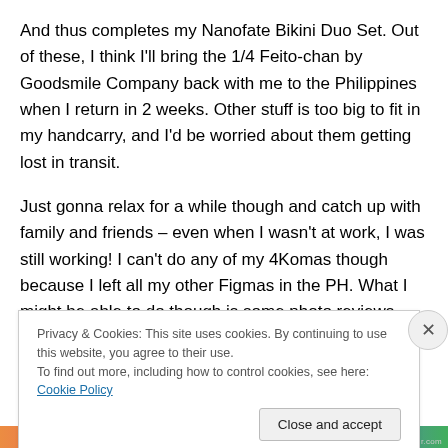And thus completes my Nanofate Bikini Duo Set. Out of these, I think I'll bring the 1/4 Feito-chan by Goodsmile Company back with me to the Philippines when I return in 2 weeks. Other stuff is too big to fit in my handcarry, and I'd be worried about them getting lost in transit.
Just gonna relax for a while though and catch up with family and friends – even when I wasn't at work, I was still working! I can't do any of my 4Komas though because I left all my other Figmas in the PH. What I might be able to do though is some photo reviews. Which one should I do
Privacy & Cookies: This site uses cookies. By continuing to use this website, you agree to their use.
To find out more, including how to control cookies, see here: Cookie Policy
Close and accept